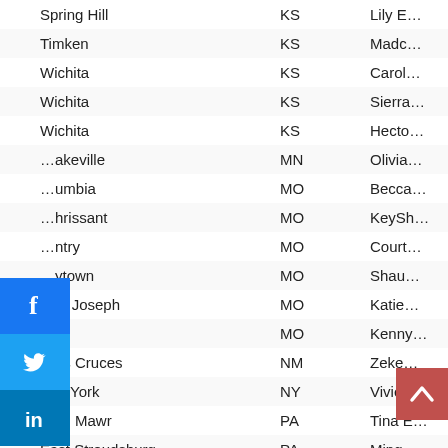| City | State | Name |
| --- | --- | --- |
| Spring Hill | KS | Lily E… |
| Timken | KS | Madc… |
| Wichita | KS | Carol… |
| Wichita | KS | Sierra… |
| Wichita | KS | Hecto… |
| …akeville | MN | Olivia… |
| …umbia | MO | Becca… |
| …hrissant | MO | KeySh… |
| …ntry | MO | Court… |
| …ytown | MO | Shau… |
| …nt Joseph | MO | Katie… |
|  | MO | Kenny… |
| …as Cruces | NM | Zeke… |
| NewYork | NY | Vivier… |
| Bryn Mawr | PA | Tina E… |
| East Stroudsburg | PA | Ming… |
| Upper Black Eddy | PA | Bailey… |
| Brandon | SD | Trinity… |
| Rapid City | SD | Klaire… |
[Figure (infographic): Social media share buttons: Facebook (blue), Twitter (light blue), LinkedIn (dark blue), and a Facebook Like button showing 1.4K likes]
[Figure (infographic): Scroll-to-top button (red/pink background with upward caret icon)]